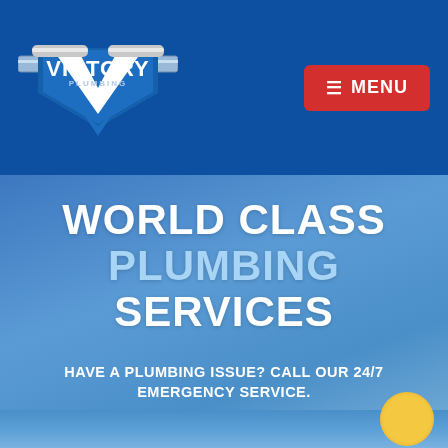[Figure (logo): Victory Plumbing logo — metallic pipes forming a V shape with shield emblem and text 'VICTORY PLUMBING']
≡ MENU
WORLD CLASS PLUMBING SERVICES
HAVE A PLUMBING ISSUE? CALL OUR 24/7 EMERGENCY SERVICE.
(501) 313-9920
REQUEST ESTIMATE